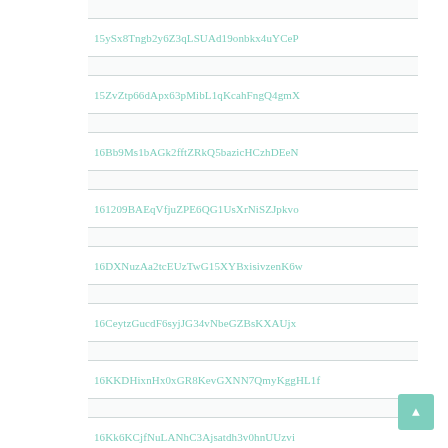|  |
| 15ySx8Tngb2y6Z3qLSUAd19onbkx4uYCeP |
|  |
| 15ZvZtp66dApx63pMibL1qKcahFngQ4gmX |
|  |
| 16Bb9Ms1bAGk2fftZRkQ5bazicHCzhDEeN |
|  |
| 161209BAEqVfjuZPE6QG1UsXrNiSZJpkvo |
|  |
| 16DXNuzAa2tcEUzTwG15XYBxisivzenK6w |
|  |
| 16CeytzGucdF6syjJG34vNbeGZBsKXAUjx |
|  |
| 16KKDHixnHx0xGR8KevGXNN7QmyKggHL1f |
|  |
| 16Kk6KCjfNuLANhC3Ajsatdh3v0hnUUzvi |
|  |
| 16LRU2SNm6omkJFQgjNxxc25GvW91e1Vjy |
|  |